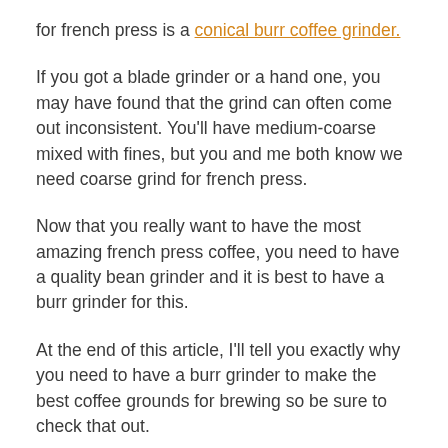for french press is a conical burr coffee grinder.
If you got a blade grinder or a hand one, you may have found that the grind can often come out inconsistent. You'll have medium-coarse mixed with fines, but you and me both know we need coarse grind for french press.
Now that you really want to have the most amazing french press coffee, you need to have a quality bean grinder and it is best to have a burr grinder for this.
At the end of this article, I'll tell you exactly why you need to have a burr grinder to make the best coffee grounds for brewing so be sure to check that out.